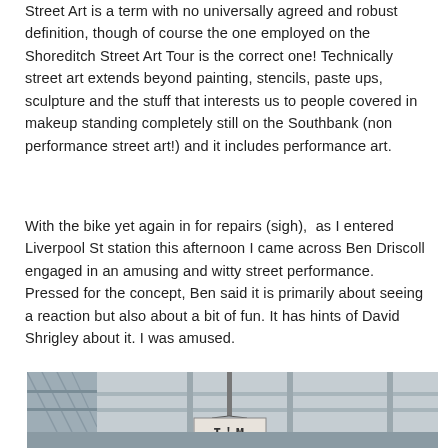Street Art is a term with no universally agreed and robust definition, though of course the one employed on the Shoreditch Street Art Tour is the correct one! Technically street art extends beyond painting, stencils, paste ups, sculpture and the stuff that interests us to people covered in makeup standing completely still on the Southbank (non performance street art!) and it includes performance art.
With the bike yet again in for repairs (sigh),  as I entered Liverpool St station this afternoon I came across Ben Driscoll engaged in an amusing and witty street performance. Pressed for the concept, Ben said it is primarily about seeing a reaction but also about a bit of fun. It has hints of David Shrigley about it. I was amused.
[Figure (photo): A photograph showing what appears to be a glass-roofed structure (likely Liverpool Street station). A person is holding or wearing a sign with the text 'I'M' visible at the bottom of the frame.]